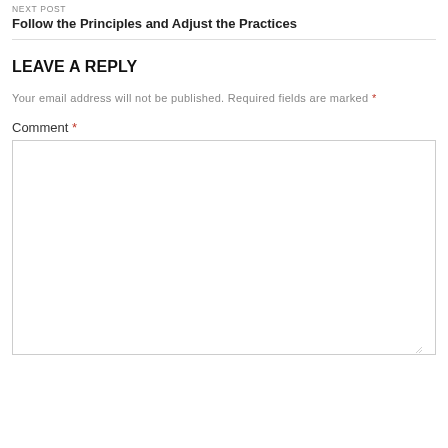NEXT POST
Follow the Principles and Adjust the Practices
LEAVE A REPLY
Your email address will not be published. Required fields are marked *
Comment *